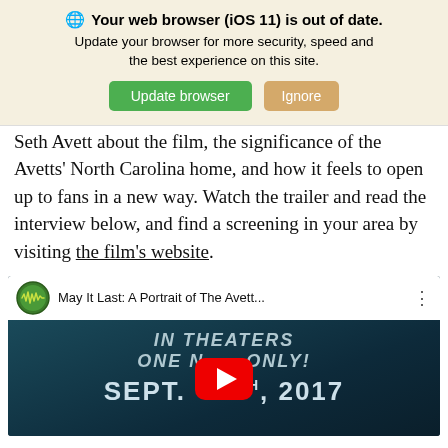[Figure (screenshot): Browser update notification banner with globe icon, bold text 'Your web browser (iOS 11) is out of date.', subtitle 'Update your browser for more security, speed and the best experience on this site.', and two buttons: green 'Update browser' and tan 'Ignore']
Seth Avett about the film, the significance of the Avetts' North Carolina home, and how it feels to open up to fans in a new way. Watch the trailer and read the interview below, and find a screening in your area by visiting the film's website.
[Figure (screenshot): YouTube video embed showing 'May It Last: A Portrait of The Avett...' with a YouTube play button overlay on a dark blue background. Text on video reads 'IN THEATERS ONE NIGHT ONLY! SEPT. 12TH, 2017']